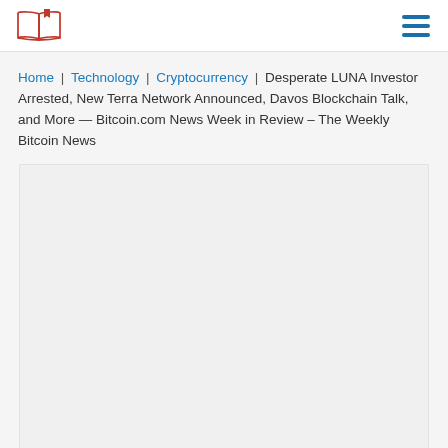[Logo] [Hamburger menu]
Home | Technology | Cryptocurrency | Desperate LUNA Investor Arrested, New Terra Network Announced, Davos Blockchain Talk, and More — Bitcoin.com News Week in Review – The Weekly Bitcoin News
[Figure (other): Large image placeholder area, light gray background]